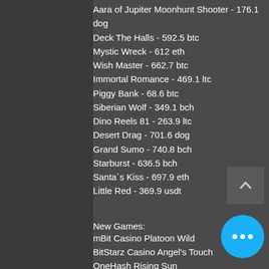Aara of Jupiter Moonhunt Shooter - 176.1 dog
Deck The Halls - 592.5 btc
Mystic Wreck - 612 eth
Wish Master - 662.7 btc
Immortal Romance - 469.1 ltc
Piggy Bank - 68.6 btc
Siberian Wolf - 349.1 bch
Dino Reels 81 - 263.9 ltc
Desert Drag - 701.6 dog
Grand Sumo - 740.8 bch
Starburst - 636.5 bch
Santa´s Kiss - 697.9 eth
Little Red - 369.9 usdt
New Games:
mBit Casino Platoon Wild
BitStarz Casino Angel's Touch
OneHash Rising Sun
1xBit Casino Crystal Cash